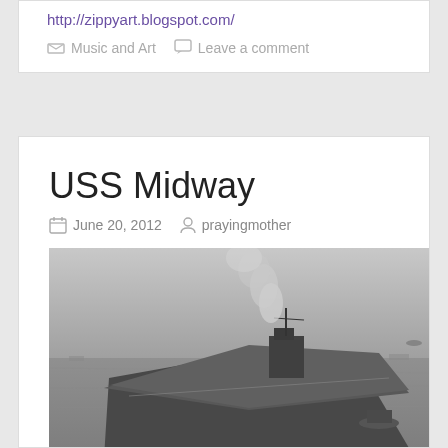http://zippyart.blogspot.com/
Music and Art   Leave a comment
USS Midway
June 20, 2012   prayingmother
[Figure (photo): Black and white aerial photograph of the USS Midway aircraft carrier at sea, with smoke rising from the ship and smaller vessels visible nearby.]